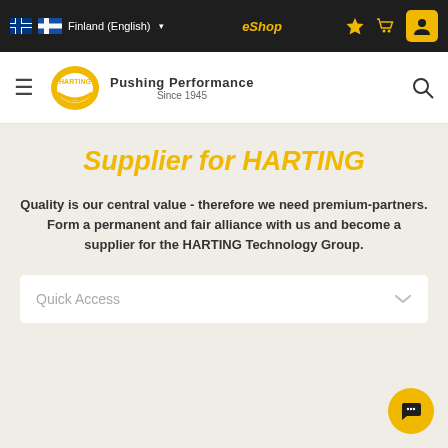Finland (English) | eShop
[Figure (logo): HARTING logo with text: Pushing Performance Since 1945]
Supplier for HARTING
Quality is our central value - therefore we need premium-partners. Form a permanent and fair alliance with us and become a supplier for the HARTING Technology Group.
Quick Access